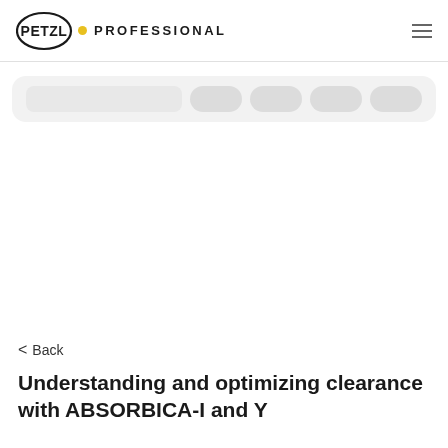PETZL • PROFESSIONAL
[Figure (screenshot): Partial navigation/filter bar with rounded pill-shaped buttons on a light gray background, partially visible at top of content area]
< Back
Understanding and optimizing clearance with ABSORBICA-I and Y